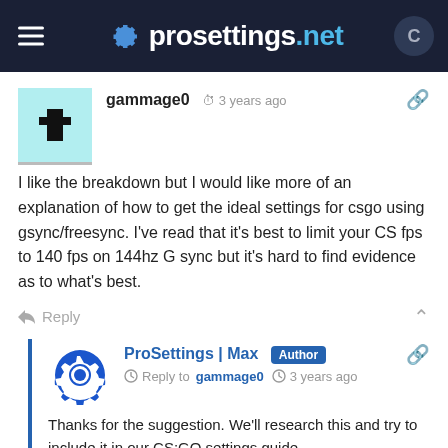prosettings.net
gammage0 · 3 years ago
I like the breakdown but I would like more of an explanation of how to get the ideal settings for csgo using gsync/freesync. I've read that it's best to limit your CS fps to 140 fps on 144hz G sync but it's hard to find evidence as to what's best.
Reply
ProSettings | Max Author · Reply to gammage0 · 3 years ago
Thanks for the suggestion. We'll research this and try to include it in our CS:GO settings guide.